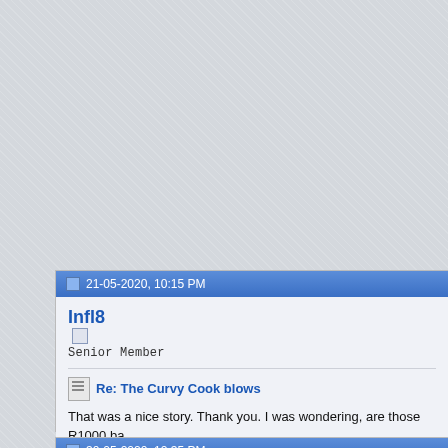21-05-2020, 10:15 PM
Infl8
Senior Member
Re: The Curvy Cook blows
That was a nice story. Thank you. I was wondering, are those R1000 ba
30-05-2020, 12:35 PM
IndianChamp
Junior Member
Re: The Curvy Cook blows
It's not that much tough.
Post Reply